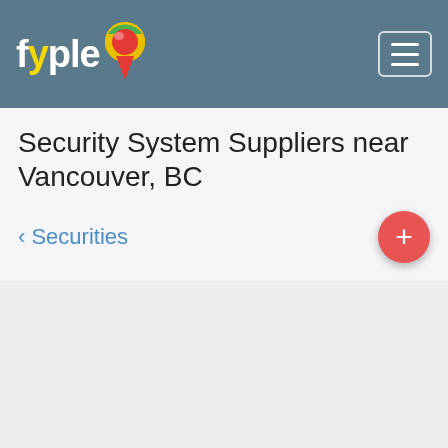[Figure (screenshot): Fyple app logo with map pin icon in the navigation bar]
Security System Suppliers near Vancouver, BC
< Securities  +